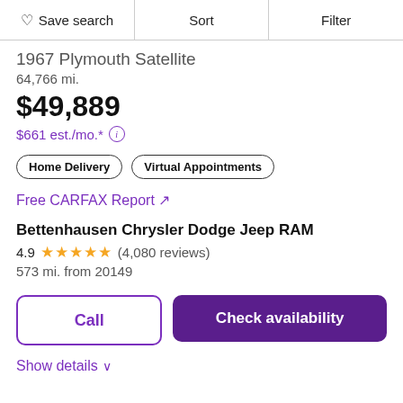Save search | Sort | Filter
1967 Plymouth Satellite
64,766 mi.
$49,889
$661 est./mo.*
Home Delivery | Virtual Appointments
Free CARFAX Report ↗
Bettenhausen Chrysler Dodge Jeep RAM
4.9 ★★★★★ (4,080 reviews)
573 mi. from 20149
Call | Check availability
Show details ∨